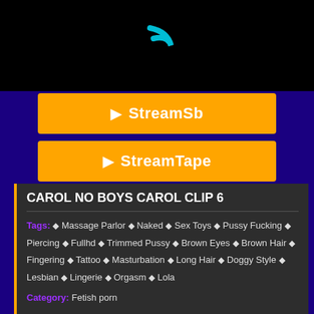[Figure (screenshot): Black video player area with partial cyan logo visible at top]
▶ StreamSb
▶ StreamTape
CAROL NO BOYS CAROL CLIP 6
Tags: 🏷 Massage Parlor 🏷 Naked 🏷 Sex Toys 🏷 Pussy Fucking 🏷 Piercing 🏷 Fullhd 🏷 Trimmed Pussy 🏷 Brown Eyes 🏷 Brown Hair 🏷 Fingering 🏷 Tattoo 🏷 Masturbation 🏷 Long Hair 🏷 Doggy Style 🏷 Lesbian 🏷 Lingerie 🏷 Orgasm 🏷 Lola
Category: Fetish porn